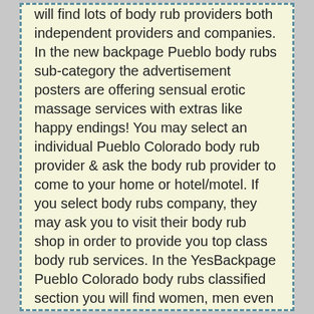will find lots of body rub providers both independent providers and companies. In the new backpage Pueblo body rubs sub-category the advertisement posters are offering sensual erotic massage services with extras like happy endings! You may select an individual Pueblo Colorado body rub provider & ask the body rub provider to come to your home or hotel/motel. If you select body rubs company, they may ask you to visit their body rub shop in order to provide you top class body rub services. In the YesBackpage Pueblo Colorado body rubs classified section you will find women, men even transgender body rubs service providers who will satisfy you in every way possible. Most of the Pueblo body rub providers will offer you mutual touching, kissing and even BJ if you are ready to pay few bucks extra and depending on the masseuse and your demand! These body rubs service pro[Page Top button]very gorgeous, well trained and will treat you like...